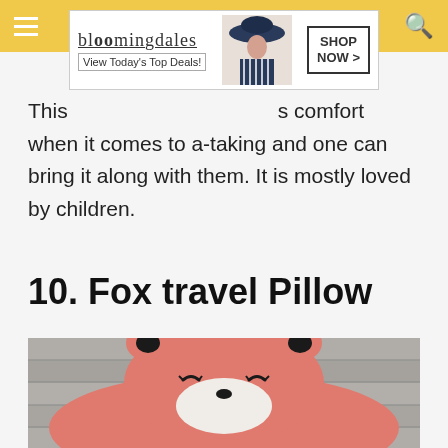[Figure (screenshot): Bloomingdale's advertisement banner showing logo, 'View Today's Top Deals!' tagline, a woman in a hat, and 'SHOP NOW >' button]
This [partially obscured] ...s comfort when it comes to a-taking and one can bring it along with them. It is mostly loved by children.
10. Fox travel Pillow
[Figure (photo): A crocheted fox travel pillow in pink/salmon color with black ear tips, closed eyes embroidered, white muzzle, photographed on a wooden surface]